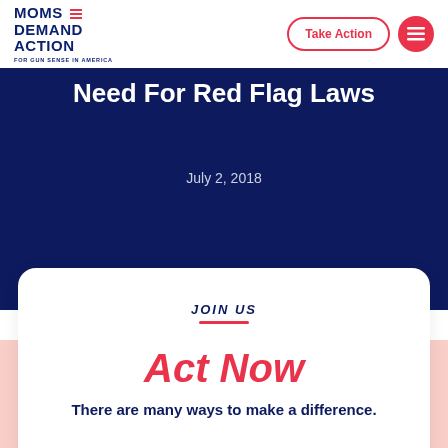[Figure (logo): Moms Demand Action for Gun Sense in America logo with red stripe lines]
Need For Red Flag Laws
July 2, 2018
JOIN US
Act Now
There are many ways to make a difference.